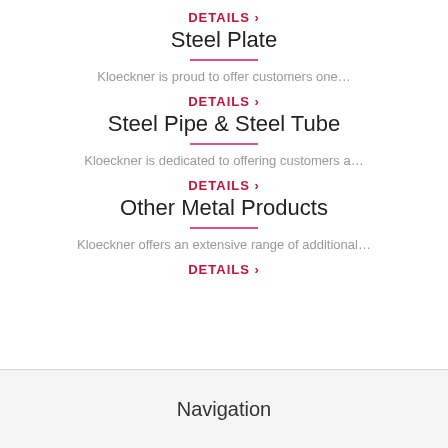DETAILS >
Steel Plate
Kloeckner is proud to offer customers one…
DETAILS >
Steel Pipe & Steel Tube
Kloeckner is dedicated to offering customers a…
DETAILS >
Other Metal Products
Kloeckner offers an extensive range of additional…
DETAILS >
Navigation